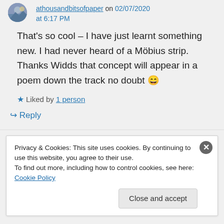athousandbitsofpaper on 02/07/2020 at 6:17 PM
That's so cool – I have just learnt something new. I had never heard of a Möbius strip. Thanks Widds that concept will appear in a poem down the track no doubt 😄
Liked by 1 person
↪ Reply
Privacy & Cookies: This site uses cookies. By continuing to use this website, you agree to their use.
To find out more, including how to control cookies, see here: Cookie Policy